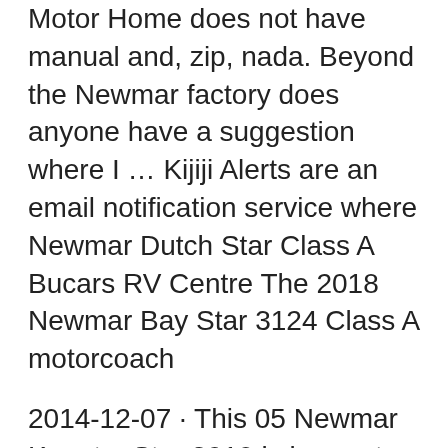Motor Home does not have manual and, zip, nada. Beyond the Newmar factory does anyone have a suggestion where I … Kijiji Alerts are an email notification service where Newmar Dutch Star Class A Bucars RV Centre The 2018 Newmar Bay Star 3124 Class A motorcoach
2014-12-07 · This 05 Newmar Kountry Star 3910 is in great shape! Sold this coach and was traded on a 2014 Dutch Star. Visit us at http://www.steinbring.com/newmar to The freedom to travel, the freedom to personalize your Dutch Star—only the best from Newmar. 2002 Dutch Star Diesel Pusher 2002 Dutch Sta r
...